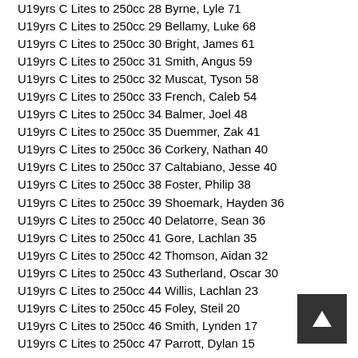U19yrs C Lites to 250cc 28 Byrne, Lyle 71
U19yrs C Lites to 250cc 29 Bellamy, Luke 68
U19yrs C Lites to 250cc 30 Bright, James 61
U19yrs C Lites to 250cc 31 Smith, Angus 59
U19yrs C Lites to 250cc 32 Muscat, Tyson 58
U19yrs C Lites to 250cc 33 French, Caleb 54
U19yrs C Lites to 250cc 34 Balmer, Joel 48
U19yrs C Lites to 250cc 35 Duemmer, Zak 41
U19yrs C Lites to 250cc 36 Corkery, Nathan 40
U19yrs C Lites to 250cc 37 Caltabiano, Jesse 40
U19yrs C Lites to 250cc 38 Foster, Philip 38
U19yrs C Lites to 250cc 39 Shoemark, Hayden 36
U19yrs C Lites to 250cc 40 Delatorre, Sean 36
U19yrs C Lites to 250cc 41 Gore, Lachlan 35
U19yrs C Lites to 250cc 42 Thomson, Aidan 32
U19yrs C Lites to 250cc 43 Sutherland, Oscar 30
U19yrs C Lites to 250cc 44 Willis, Lachlan 23
U19yrs C Lites to 250cc 45 Foley, Steil 20
U19yrs C Lites to 250cc 46 Smith, Lynden 17
U19yrs C Lites to 250cc 47 Parrott, Dylan 15